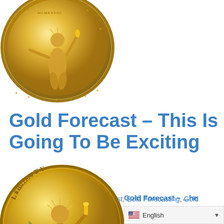[Figure (photo): Close-up of a gold coin (Saint-Gaudens Double Eagle) showing detailed relief design, partially cropped at top of page]
Gold Forecast – This Is Going To Be Exciting
April 17, 2014/in blog, Gold Forecast, Gold Forecasting, Gold Market Traders /by admin
[Figure (photo): Gold coin showing Liberty design (Saint-Gaudens Double Eagle) with LIBERTY text visible, partially cropped at bottom of page]
Gold Forecast – ...he
[Figure (screenshot): Language selector bar showing English with US flag and dropdown arrow]